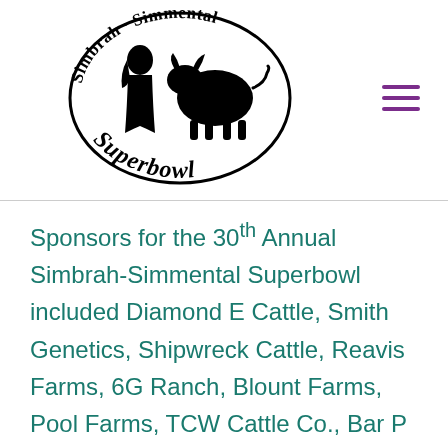[Figure (logo): Simbrah-Simmental Superbowl logo: an oval shape with text 'Simbrah · Simmental' arcing along the top and 'Superbowl' along the bottom, with silhouettes of a person and cattle in the center, all in black.]
Sponsors for the 30th Annual Simbrah-Simmental Superbowl included Diamond E Cattle, Smith Genetics, Shipwreck Cattle, Reavis Farms, 6G Ranch, Blount Farms, Pool Farms, TCW Cattle Co., Bar P Bar Cattle Co., Triple C Cattle, J&L Ranch,